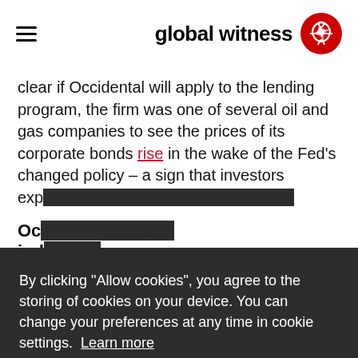global witness
clear if Occidental will apply to the lending program, the firm was one of several oil and gas companies to see the prices of its corporate bonds rise in the wake of the Fed's changed policy – a sign that investors expected the change to benefit the firm.
Oc... ind...
The... Occ... fed... we...
write to members of Congress with a so-called wish
By clicking "Allow cookies", you agree to the storing of cookies on your device. You can change your preferences at any time in cookie settings. Learn more
Cookie settings | Allow cookies